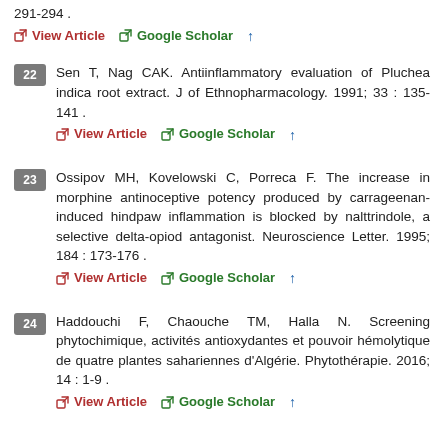291-294 .
22. Sen T, Nag CAK. Antiinflammatory evaluation of Pluchea indica root extract. J of Ethnopharmacology. 1991; 33 : 135-141 .
23. Ossipov MH, Kovelowski C, Porreca F. The increase in morphine antinoceptive potency produced by carrageenan-induced hindpaw inflammation is blocked by nalttrindole, a selective delta-opiod antagonist. Neuroscience Letter. 1995; 184 : 173-176 .
24. Haddouchi F, Chaouche TM, Halla N. Screening phytochimique, activités antioxydantes et pouvoir hémolytique de quatre plantes sahariennes d'Algérie. Phytothérapie. 2016; 14 : 1-9 .